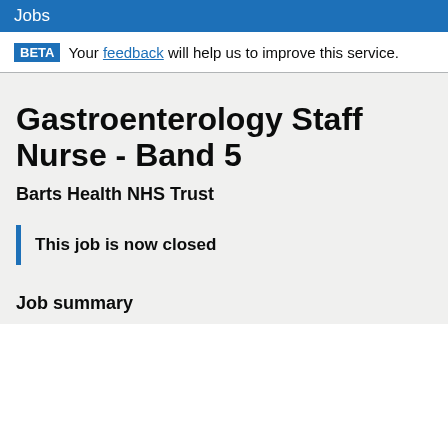Jobs
BETA Your feedback will help us to improve this service.
Gastroenterology Staff Nurse - Band 5
Barts Health NHS Trust
This job is now closed
Job summary